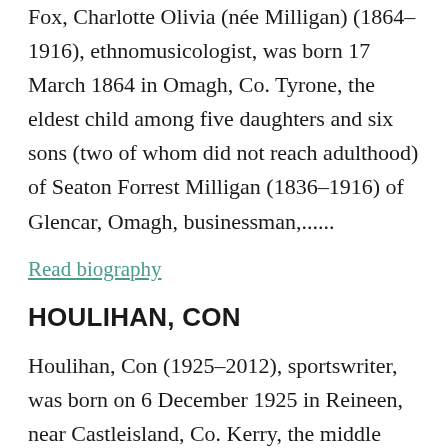Fox, Charlotte Olivia (née Milligan) (1864–1916), ethnomusicologist, was born 17 March 1864 in Omagh, Co. Tyrone, the eldest child among five daughters and six sons (two of whom did not reach adulthood) of Seaton Forrest Milligan (1836–1916) of Glencar, Omagh, businessman,......
Read biography
HOULIHAN, CON
Houlihan, Con (1925–2012), sportswriter, was born on 6 December 1925 in Reineen, near Castleisland, Co. Kerry, the middle child among two boys and a girl of Michael Houlihan and his wife Ellen ('Nell') (née Cronin). His parents